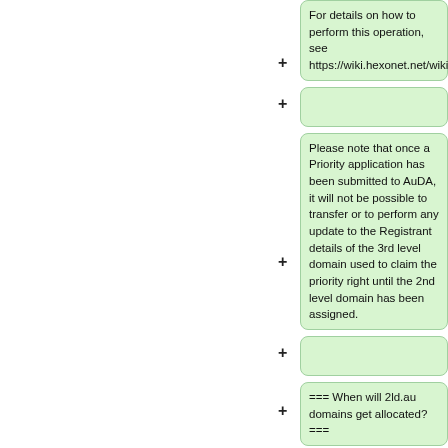For details on how to perform this operation, see https://wiki.hexonet.net/wiki/AU#Ownerchange
+
Please note that once a Priority application has been submitted to AuDA, it will not be possible to transfer or to perform any update to the Registrant details of the 3rd level domain used to claim the priority right until the 2nd level domain has been assigned.
+
=== When will 2ld.au domains get allocated? ===